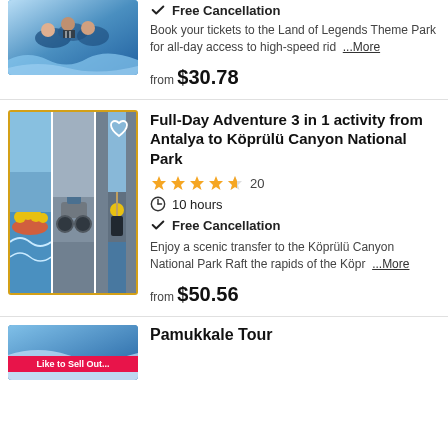[Figure (photo): Photo of people on a high-speed ride at a theme park]
Free Cancellation
Book your tickets to the Land of Legends Theme Park for all-day access to high-speed rid ...More
from $30.78
[Figure (photo): Collage of three adventure activity photos: white water rafting, ATV riding, and canyon hiking]
Full-Day Adventure 3 in 1 activity from Antalya to Köprülü Canyon National Park
20 (star rating: 4.5 out of 5)
10 hours
Free Cancellation
Enjoy a scenic transfer to the Köprülü Canyon National Park Raft the rapids of the Köpr ...More
from $50.56
[Figure (photo): Partial photo for Pamukkale Tour listing]
Pamukkale Tour